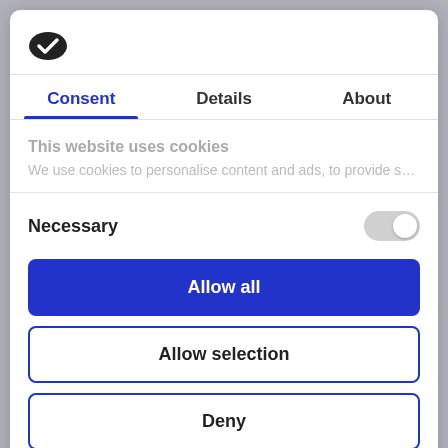[Figure (logo): Cookiebot cookie logo - dark oval with white checkmark]
Consent	Details	About
This website uses cookies
We use cookies to personalise content and ads, to provide social
Necessary
Allow all
Allow selection
Deny
Powered by Cookiebot by Usercentrics